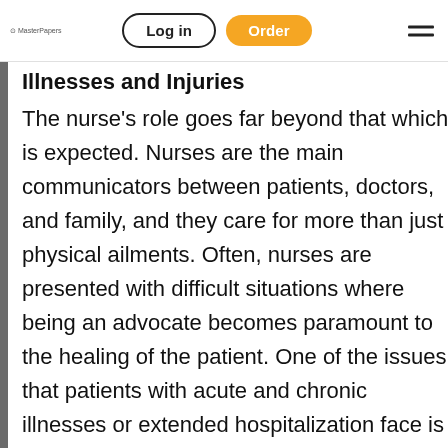Log in | Order
Illnesses and Injuries
The nurse's role goes far beyond that which is expected. Nurses are the main communicators between patients, doctors, and family, and they care for more than just physical ailments. Often, nurses are presented with difficult situations where being an advocate becomes paramount to the healing of the patient. One of the issues that patients with acute and chronic illnesses or extended hospitalization face is a tendency to become depressed. The nurse's role in this situatio